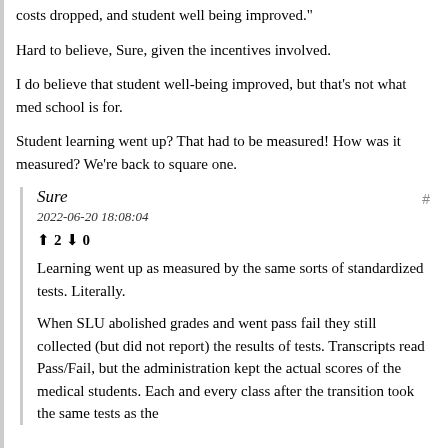costs dropped, and student well being improved."
Hard to believe, Sure, given the incentives involved.
I do believe that student well-being improved, but that's not what med school is for.
Student learning went up? That had to be measured! How was it measured? We're back to square one.
Sure
2022-06-20 18:08:04
↑ 2 ↓ 0
Learning went up as measured by the same sorts of standardized tests. Literally.
When SLU abolished grades and went pass fail they still collected (but did not report) the results of tests. Transcripts read Pass/Fail, but the administration kept the actual scores of the medical students. Each and every class after the transition took the same tests as the